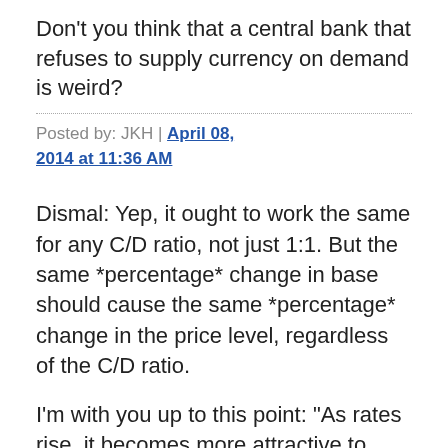Don't you think that a central bank that refuses to supply currency on demand is weird?
Posted by: JKH | April 08, 2014 at 11:36 AM
Dismal: Yep, it ought to work the same for any C/D ratio, not just 1:1. But the same *percentage* change in base should cause the same *percentage* change in the price level, regardless of the C/D ratio.
I'm with you up to this point: "As rates rise, it becomes more attractive to delay consumption, and this ends up